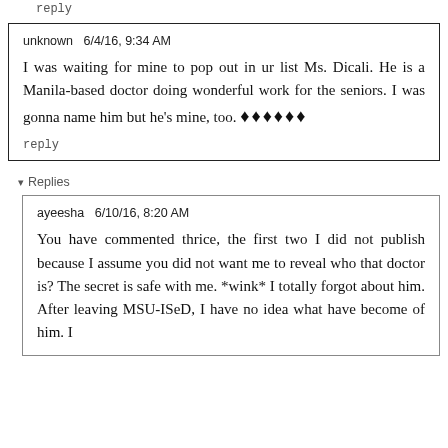reply
unknown  6/4/16, 9:34 AM

I was waiting for mine to pop out in ur list Ms. Dicali. He is a Manila-based doctor doing wonderful work for the seniors. I was gonna name him but he's mine, too. 🔷🔷🔷🔷🔷🔷

reply
▾ Replies
ayeesha  6/10/16, 8:20 AM

You have commented thrice, the first two I did not publish because I assume you did not want me to reveal who that doctor is? The secret is safe with me. *wink* I totally forgot about him. After leaving MSU-ISeD, I have no idea what have become of him. I